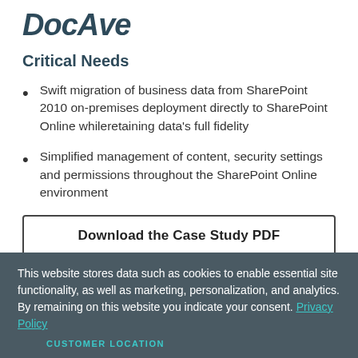DocAve
Critical Needs
Swift migration of business data from SharePoint 2010 on-premises deployment directly to SharePoint Online whileretaining data's full fidelity
Simplified management of content, security settings and permissions throughout the SharePoint Online environment
Download the Case Study PDF
This website stores data such as cookies to enable essential site functionality, as well as marketing, personalization, and analytics. By remaining on this website you indicate your consent. Privacy Policy
CUSTOMER LOCATION